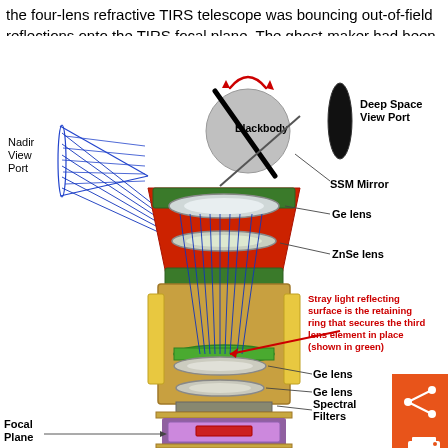the four-lens refractive TIRS telescope was bouncing out-of-field reflections onto the TIRS focal plane. The ghost-maker had been found.
[Figure (engineering-diagram): Cutaway cross-section diagram of the TIRS (Thermal Infrared Sensor) telescope assembly showing: Nadir View Port (left, blue grid cone), Blackbody (grey sphere with rotating arrow), Deep Space View Port (black ellipse), SSM Mirror, Ge lens (top), ZnSe lens, two Ge lenses (lower), Spectral Filters, Focal Plane (purple box at bottom). A red annotation arrow points to a green retaining ring labeled 'Stray light reflecting surface is the retaining ring that secures the third lens element in place (shown in green)'. Blue ray lines trace through the optical path.]